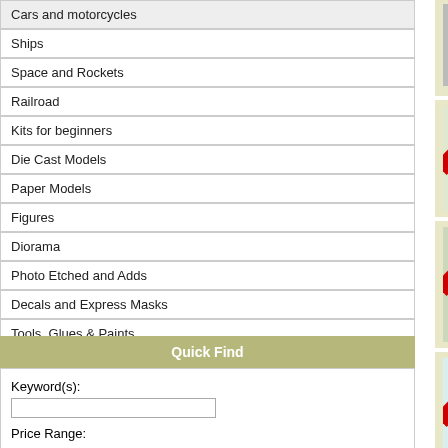Cars and motorcycles
Ships
Space and Rockets
Railroad
Kits for beginners
Die Cast Models
Paper Models
Figures
Diorama
Photo Etched and Adds
Decals and Express Masks
Tools, Glues & Paints
Modelling Magazines
Modelling Catalogues
Quick Find
Keyword(s):
Price Range:
Star Decals 35-C1311 1/35
Star Decals 35-C1311 1/35 quality waterslide decals for references, to get the actual
Star Decals 35961 1/35 M19
Star Decals 35961 M19 Diamond decals for armor models in 1/35 the actual realistic look on th
Star Decals 35891 1/35 Brit
Star Decals 35891 1/35 British Mk IV and MK VI, Staghound in 1/35 scale. All markings a
Star Decals 35940 1/35 Bul
Star Decals 35940 1/35 Bulgarian 1/35 scale. All markings are the markings. The instr